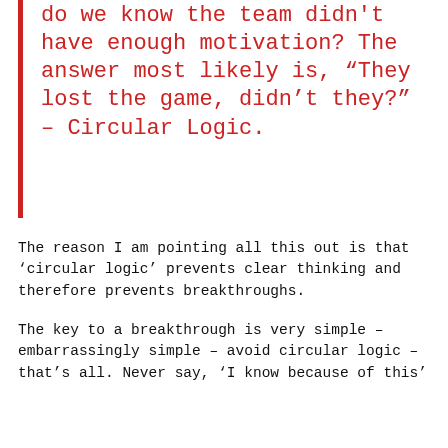do we know the team didn't have enough motivation? The answer most likely is, “They lost the game, didn’t they?” – Circular Logic.
The reason I am pointing all this out is that ‘circular logic’ prevents clear thinking and therefore prevents breakthroughs.
The key to a breakthrough is very simple – embarrassingly simple – avoid circular logic – that’s all. Never say, ‘I know because of this’